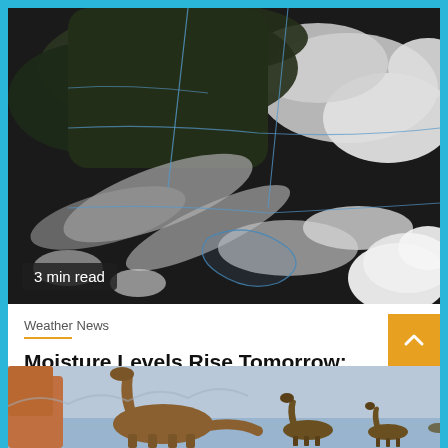[Figure (map): Satellite weather map showing cloud cover and moisture patterns over the United States, with blue state boundary lines visible. Black and white/gray tones showing cloud formations.]
3 min read
Weather News
Moisture Levels Rise Tomorrow; Unsettled Labor Day Weekend Weather Ahead
2 hours ago   eWeatherNews RSS Feed
[Figure (illustration): Illustration of dinosaurs (sauropods) walking in a prehistoric landscape with water and reddish/orange trees or rock formations in the foreground.]